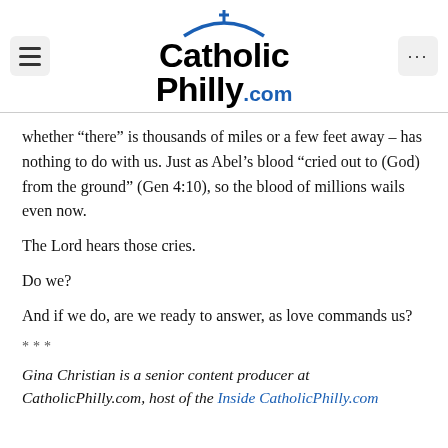CatholicPhilly.com
whether “there” is thousands of miles or a few feet away – has nothing to do with us. Just as Abel’s blood “cried out to (God) from the ground” (Gen 4:10), so the blood of millions wails even now.
The Lord hears those cries.
Do we?
And if we do, are we ready to answer, as love commands us?
***
Gina Christian is a senior content producer at CatholicPhilly.com, host of the Inside CatholicPhilly.com